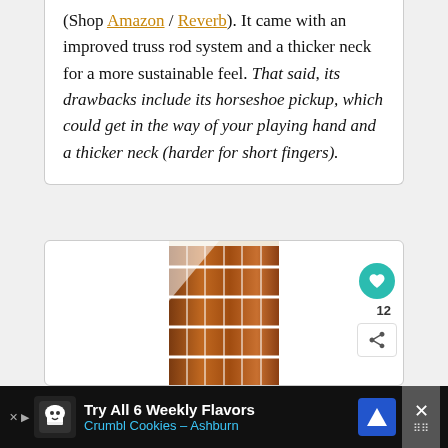(Shop Amazon / Reverb). It came with an improved truss rod system and a thicker neck for a more sustainable feel. That said, its drawbacks include its horseshoe pickup, which could get in the way of your playing hand and a thicker neck (harder for short fingers).
[Figure (photo): Close-up photo of a guitar fretboard showing wooden frets with white fret lines, partially visible from top of image box]